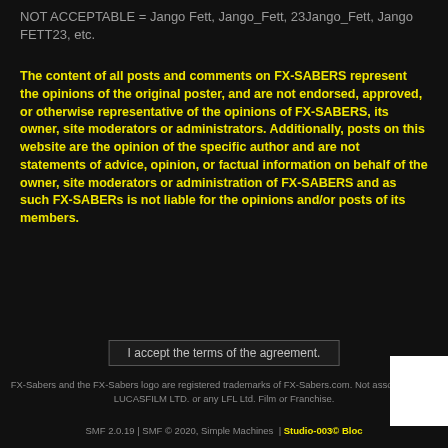NOT ACCEPTABLE = Jango Fett, Jango_Fett, 23Jango_Fett, Jango FETT23, etc.
The content of all posts and comments on FX-SABERS represent the opinions of the original poster, and are not endorsed, approved, or otherwise representative of the opinions of FX-SABERS, its owner, site moderators or administrators. Additionally, posts on this website are the opinion of the specific author and are not statements of advice, opinion, or factual information on behalf of the owner, site moderators or administration of FX-SABERS and as such FX-SABERs is not liable for the opinions and/or posts of its members.
I accept the terms of the agreement.
FX-Sabers and the FX-Sabers logo are registered trademarks of FX-Sabers.com. Not associated with LUCASFILM LTD. or any LFL Ltd. Film or Franchise.
SMF 2.0.19 | SMF © 2020, Simple Machines  | Studio-003© Bloc